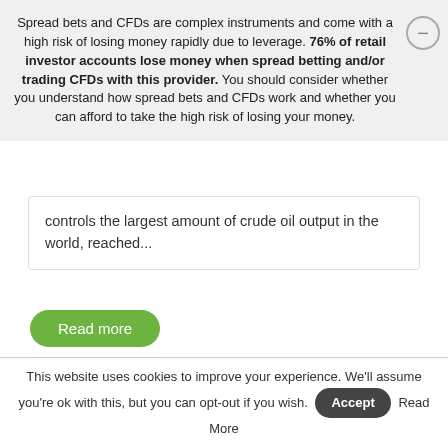Spread bets and CFDs are complex instruments and come with a high risk of losing money rapidly due to leverage. 76% of retail investor accounts lose money when spread betting and/or trading CFDs with this provider. You should consider whether you understand how spread bets and CFDs work and whether you can afford to take the high risk of losing your money.
controls the largest amount of crude oil output in the world, reached...
Read more
Triggering Article 50: How will stock markets react? - Mar 10, 2017
This website uses cookies to improve your experience. We'll assume you're ok with this, but you can opt-out if you wish. Accept Read More